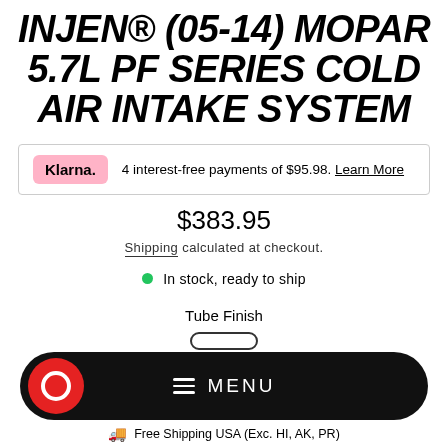INJEN® (05-14) MOPAR 5.7L PF SERIES COLD AIR INTAKE SYSTEM
Klarna. 4 interest-free payments of $95.98. Learn More
$383.95
Shipping calculated at checkout.
In stock, ready to ship
Tube Finish
MENU
Free Shipping USA (Exc. HI, AK, PR)